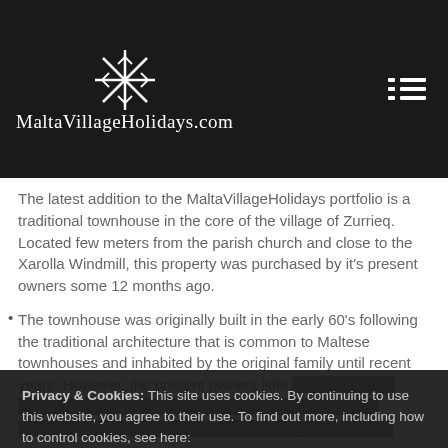MaltaVillageHolidays.com
The latest addition to the MaltaVillageHolidays portfolio is a traditional townhouse in the core of the village of Zurrieq. Located few meters from the parish church and close to the Xarolla Windmill, this property was purchased by it's present owners some 12 months ago.
The townhouse was originally built in the early 60's following the traditional architecture that is common to Maltese townhouses and inhabited by the original family until recent years. However, the present owners little knew about the infrastructure/state of the house and the work that was needed in order to return this property to its former glory.
The 10-month project had to restore this architectural heritage whilst ensuring modern-day comforts for it's future tenants. As old limestone walls were being
Privacy & Cookies: This site uses cookies. By continuing to use this website, you agree to their use. To find out more, including how to control cookies, see here: Cookie Policy
Close and accept